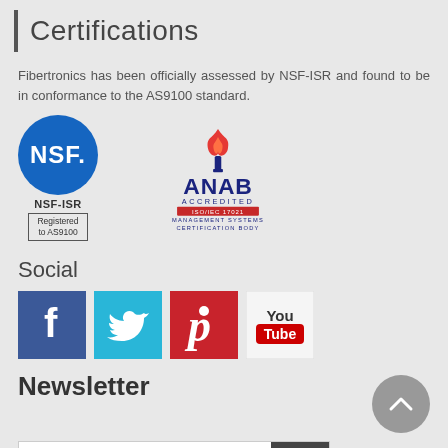Certifications
Fibertronics has been officially assessed by NSF-ISR and found to be in conformance to the AS9100 standard.
[Figure (logo): NSF-ISR logo: blue circle with NSF text, below it NSF-ISR label and a box reading Registered to AS9100]
[Figure (logo): ANAB Accredited logo with torch flame, text ANAB ACCREDITED, ISO/IEC 17021, MANAGEMENT SYSTEMS CERTIFICATION BODY]
Social
[Figure (logo): Social media icons: Facebook (blue), Twitter (light blue), Pinterest (red), YouTube (white/red)]
Newsletter
Enter your email here...